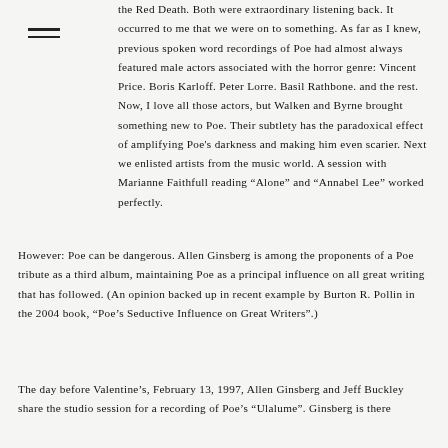the Red Death. Both were extraordinary listening back. It occurred to me that we were on to something. As far as I knew, previous spoken word recordings of Poe had almost always featured male actors associated with the horror genre: Vincent Price. Boris Karloff. Peter Lorre. Basil Rathbone. and the rest. Now, I love all those actors, but Walken and Byrne brought something new to Poe. Their subtlety has the paradoxical effect of amplifying Poe's darkness and making him even scarier. Next we enlisted artists from the music world. A session with Marianne Faithfull reading "Alone" and "Annabel Lee" worked perfectly.
However: Poe can be dangerous. Allen Ginsberg is among the proponents of a Poe tribute as a third album, maintaining Poe as a principal influence on all great writing that has followed. (An opinion backed up in recent example by Burton R. Pollin in the 2004 book, "Poe's Seductive Influence on Great Writers".)
The day before Valentine's, February 13, 1997, Allen Ginsberg and Jeff Buckley share the studio session for a recording of Poe's "Ulalume". Ginsberg is there...